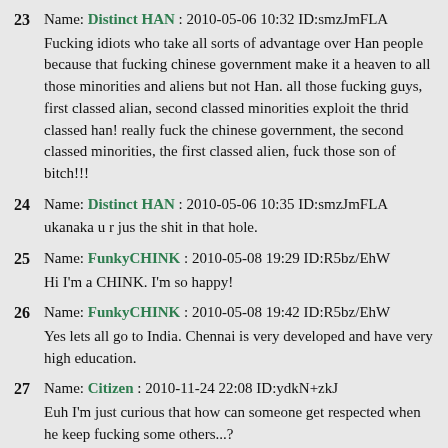23 Name: Distinct HAN : 2010-05-06 10:32 ID:smzJmFLA
Fucking idiots who take all sorts of advantage over Han people because that fucking chinese government make it a heaven to all those minorities and aliens but not Han. all those fucking guys, first classed alian, second classed minorities exploit the thrid classed han! really fuck the chinese government, the second classed minorities, the first classed alien, fuck those son of bitch!!!
24 Name: Distinct HAN : 2010-05-06 10:35 ID:smzJmFLA
ukanaka u r jus the shit in that hole.
25 Name: FunkyCHINK : 2010-05-08 19:29 ID:R5bz/EhW
Hi I'm a CHINK. I'm so happy!
26 Name: FunkyCHINK : 2010-05-08 19:42 ID:R5bz/EhW
Yes lets all go to India. Chennai is very developed and have very high education.
27 Name: Citizen : 2010-11-24 22:08 ID:ydkN+zkJ
Euh I'm just curious that how can someone get respected when he keep fucking some others...?
If you want to discuss, u'd better try to say something